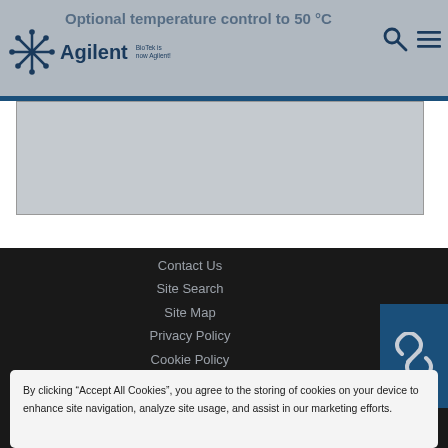Agilent — BioTek is now Agilent!
Optional temperature control to 50 °C
[Figure (screenshot): Gray content area below header navigation]
Contact Us
Site Search
Site Map
Privacy Policy
Cookie Policy
Data Protection & GDPR
Trademarks
By clicking “Accept All Cookies”, you agree to the storing of cookies on your device to enhance site navigation, analyze site usage, and assist in our marketing efforts.